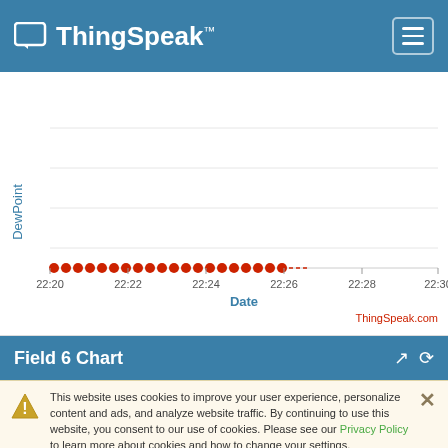ThingSpeak™
[Figure (continuous-plot): Scatter/line chart showing DewPoint values over time from 22:20 to 22:30. Data points (red dots) are clustered horizontally between 22:20 and 22:26, appearing as a flat horizontal line of red dots.]
Field 6 Chart
This website uses cookies to improve your user experience, personalize content and ads, and analyze website traffic. By continuing to use this website, you consent to our use of cookies. Please see our Privacy Policy to learn more about cookies and how to change your settings.